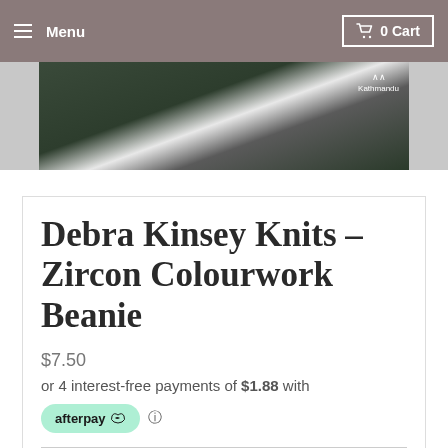Menu   0 Cart
[Figure (photo): Person wearing a dark green Kathmandu jacket, cropped view showing the jacket collar and Kathmandu logo]
Debra Kinsey Knits – Zircon Colourwork Beanie
$7.50
or 4 interest-free payments of $1.88 with
[Figure (logo): Afterpay logo badge in mint green, with info icon]
Tax included.